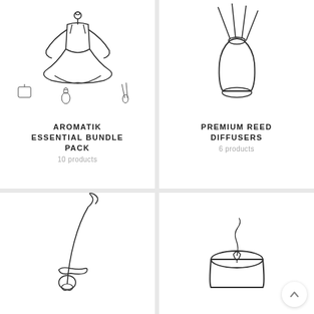[Figure (illustration): Line drawing of a person in yoga meditation pose with small icons below (candle, diffuser bottle, reed sticks)]
AROMATIK ESSENTIAL BUNDLE PACK
10 products
[Figure (illustration): Line drawing of a reed diffuser with tall sticks in a vase]
PREMIUM REED DIFFUSERS
6 products
[Figure (illustration): Line drawing of an incense stick with curling smoke and a small ornament]
[Figure (illustration): Line drawing of a lit candle jar with curling smoke]